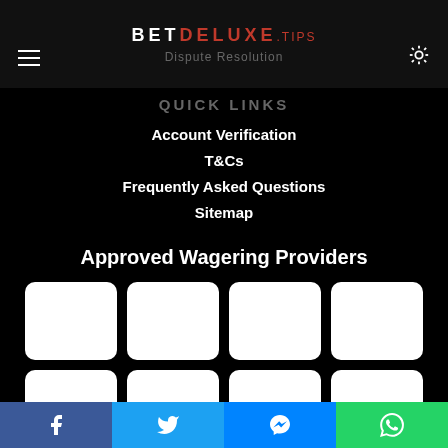BETDELUXE.TIPS — Dispute Resolution
QUICK LINKS
Account Verification
T&Cs
Frequently Asked Questions
Sitemap
Approved Wagering Providers
[Figure (other): Grid of 8 white rounded-rectangle provider logo placeholders (2 rows of 4)]
Social share bar: Facebook, Twitter, Messenger, WhatsApp